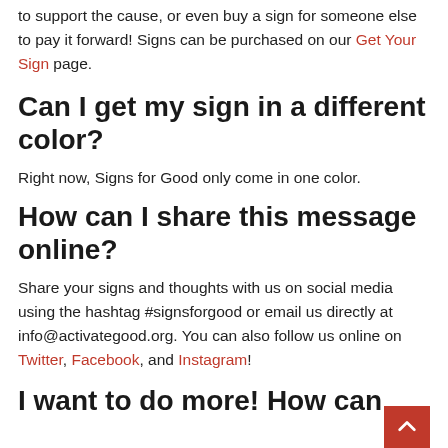to support the cause, or even buy a sign for someone else to pay it forward! Signs can be purchased on our Get Your Sign page.
Can I get my sign in a different color?
Right now, Signs for Good only come in one color.
How can I share this message online?
Share your signs and thoughts with us on social media using the hashtag #signsforgood or email us directly at info@activategood.org. You can also follow us online on Twitter, Facebook, and Instagram!
I want to do more! How can